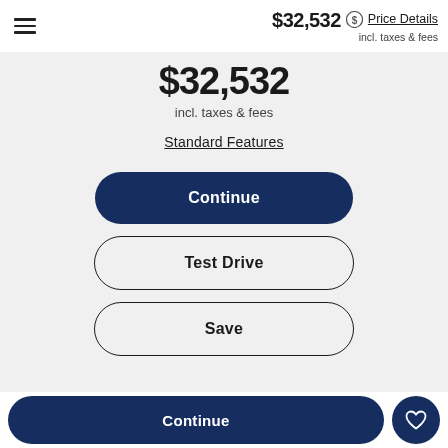$32,532 incl. taxes & fees Price Details
$32,532
incl. taxes & fees
Standard Features
Continue
Test Drive
Save
Continue